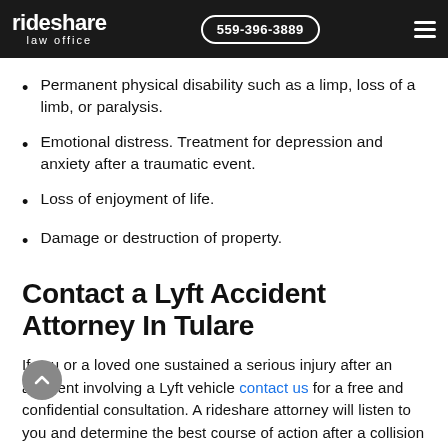rideshare law office | 559-396-3889
Permanent physical disability such as a limp, loss of a limb, or paralysis.
Emotional distress. Treatment for depression and anxiety after a traumatic event.
Loss of enjoyment of life.
Damage or destruction of property.
Contact a Lyft Accident Attorney In Tulare
If you or a loved one sustained a serious injury after an accident involving a Lyft vehicle contact us for a free and confidential consultation. A rideshare attorney will listen to you and determine the best course of action after a collision that was the fault of Lyft and their employee. Lyft makes